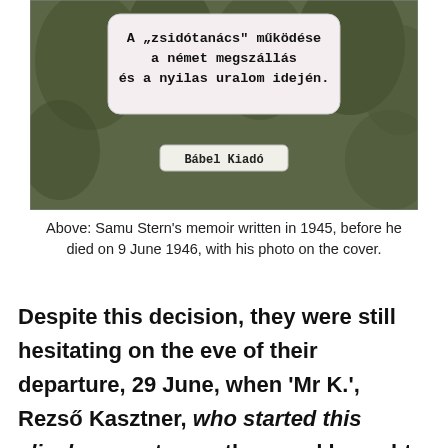[Figure (photo): Book cover photo of Samu Stern's memoir titled 'A zsidótanács működése a német megszállás és a nyilas uralom idején' published by Bábel Kiadó, with a decorative floral/plant background.]
Above: Samu Stern's memoir written in 1945, before he died on 9 June 1946, with his photo on the cover.
Despite this decision, they were still hesitating on the eve of their departure, 29 June, when 'Mr K.', Rezső Kasztner, who started this aliyah, came to see them and brought news that forced them to